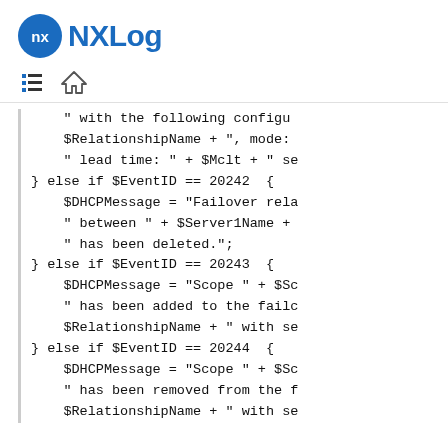NXLog
[Figure (other): Navigation icons: table of contents and home]
" with the following configu
    $RelationshipName + ", mode:
    " lead time: " + $Mclt + " se
} else if $EventID == 20242  {
    $DHCPMessage = "Failover rela
    " between " + $Server1Name +
    " has been deleted.";
} else if $EventID == 20243  {
    $DHCPMessage = "Scope " + $Sc
    " has been added to the failc
    $RelationshipName + " with se
} else if $EventID == 20244  {
    $DHCPMessage = "Scope " + $Sc
    " has been removed from the f
    $RelationshipName + " with se